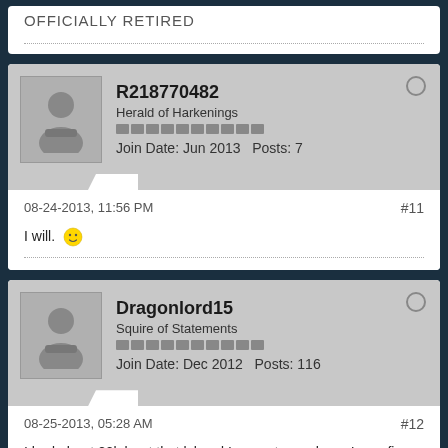OFFICIALLY RETIRED
R218770482
Herald of Harkenings
Join Date: Jun 2013  Posts: 7
08-24-2013, 11:56 PM  #11
I will. 🙂
Dragonlord15
Squire of Statements
Join Date: Dec 2012  Posts: 116
08-25-2013, 05:28 AM  #12
I had about 20k br at that lvl and I am not a casher....I was fine with that br in bg and arena.....Your mdef is a bit low and